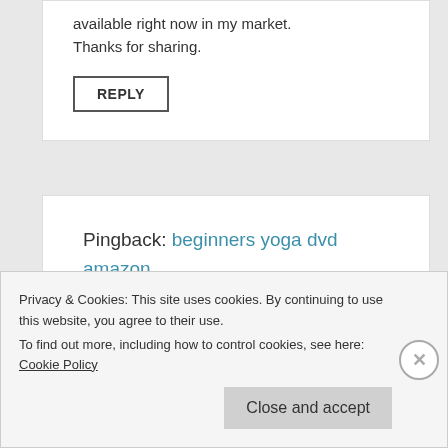available right now in my market. Thanks for sharing.
REPLY
Pingback: beginners yoga dvd amazon
Privacy & Cookies: This site uses cookies. By continuing to use this website, you agree to their use.
To find out more, including how to control cookies, see here: Cookie Policy
Close and accept